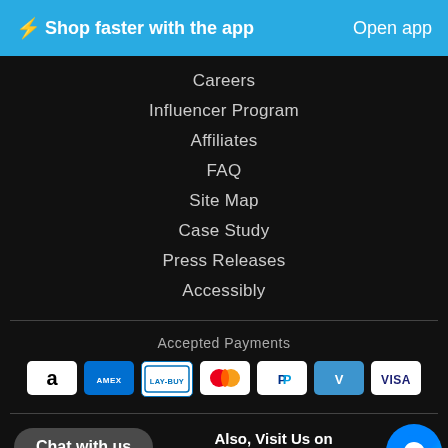⚡Shop faster with the app   Open app
Careers
Influencer Program
Affiliates
FAQ
Site Map
Case Study
Press Releases
Accessibly
Accepted Payments
[Figure (infographic): Payment method icons: Amazon Pay, American Express, Laybuy, Mastercard, PayPal, Venmo, Visa]
Chat with us
Also, Visit Us on
[Figure (infographic): Facebook Messenger icon (blue circle with white lightning bolt chat bubble)]
[Figure (infographic): App Store download button, Google Play icons, and social media icons]
Download on the App Store   Google Play